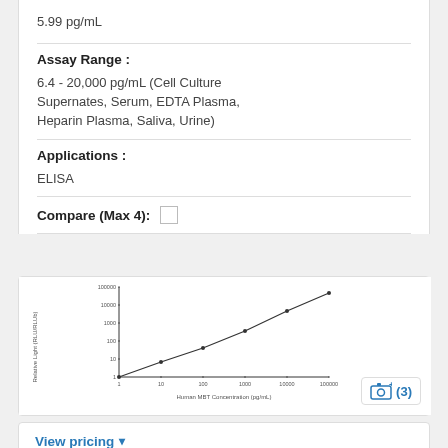5.99 pg/mL
Assay Range :
6.4 - 20,000 pg/mL (Cell Culture Supernates, Serum, EDTA Plasma, Heparin Plasma, Saliva, Urine)
Applications :
ELISA
Compare (Max 4): ☐
[Figure (continuous-plot): Log-log standard curve plot of Relative Light (RLU/RLUb) vs Human MBT Concentration (pg/mL), showing a linear trend from approximately 1 to 100000 on y-axis and 1 to 100000 on x-axis.]
View pricing ▾